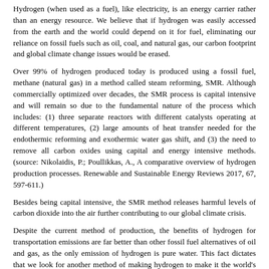Hydrogen (when used as a fuel), like electricity, is an energy carrier rather than an energy resource. We believe that if hydrogen was easily accessed from the earth and the world could depend on it for fuel, eliminating our reliance on fossil fuels such as oil, coal, and natural gas, our carbon footprint and global climate change issues would be erased.
Over 99% of hydrogen produced today is produced using a fossil fuel, methane (natural gas) in a method called steam reforming, SMR. Although commercially optimized over decades, the SMR process is capital intensive and will remain so due to the fundamental nature of the process which includes: (1) three separate reactors with different catalysts operating at different temperatures, (2) large amounts of heat transfer needed for the endothermic reforming and exothermic water gas shift, and (3) the need to remove all carbon oxides using capital and energy intensive methods. (source: Nikolaidis, P.; Poullikkas, A., A comparative overview of hydrogen production processes. Renewable and Sustainable Energy Reviews 2017, 67, 597-611.)
Besides being capital intensive, the SMR method releases harmful levels of carbon dioxide into the air further contributing to our global climate crisis.
Despite the current method of production, the benefits of hydrogen for transportation emissions are far better than other fossil fuel alternatives of oil and gas, as the only emission of hydrogen is pure water. This fact dictates that we look for another method of making hydrogen to make it the world's premier fuel by producing it in a more sustainable green way.
Market Opportunity